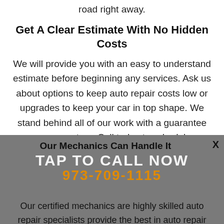road right away.
Get A Clear Estimate With No Hidden Costs
We will provide you with an easy to understand estimate before beginning any services. Ask us about options to keep auto repair costs low or upgrades to keep your car in top shape. We stand behind all of our work with a guarantee you can count on. Call today to schedule an appointment at 973-709-1115.
Our Mechanics Can Handle It
TAP TO CALL NOW
973-709-1115
Our certified mechanics are highly skilled auto repair specialists provide the best in auto repair services for domestic and import automobiles of all makes and